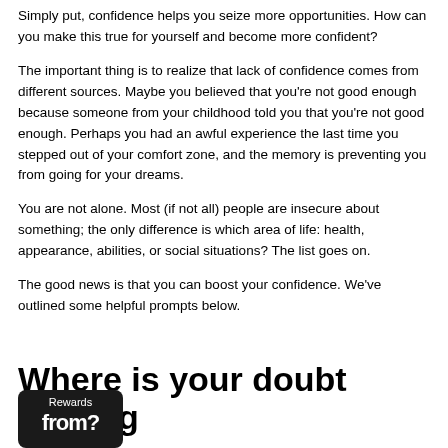Simply put, confidence helps you seize more opportunities. How can you make this true for yourself and become more confident?
The important thing is to realize that lack of confidence comes from different sources. Maybe you believed that you're not good enough because someone from your childhood told you that you're not good enough. Perhaps you had an awful experience the last time you stepped out of your comfort zone, and the memory is preventing you from going for your dreams.
You are not alone. Most (if not all) people are insecure about something; the only difference is which area of life: health, appearance, abilities, or social situations? The list goes on.
The good news is that you can boost your confidence. We've outlined some helpful prompts below.
Where is your doubt coming